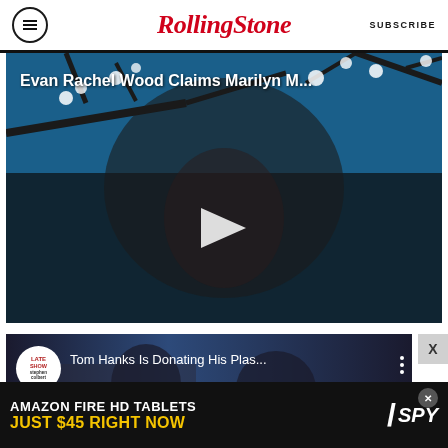RollingStone  SUBSCRIBE
[Figure (screenshot): Video thumbnail of Evan Rachel Wood looking upward with cherry blossoms and blue sky in background, with play button overlay]
Evan Rachel Wood Claims Marilyn M...
[Figure (screenshot): YouTube video thumbnail from Late Show with Stephen Colbert showing Tom Hanks Is Donating His Plas... with two people visible]
Tom Hanks Is Donating His Plas...
[Figure (photo): Advertisement banner: AMAZON FIRE HD TABLETS JUST $45 RIGHT NOW / SPY]